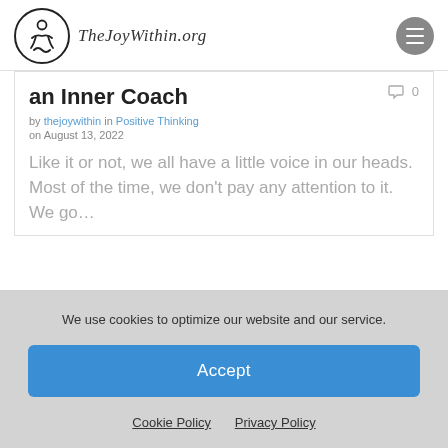TheJoyWithin.org
an Inner Coach
by thejoywithin in Positive Thinking  0
on August 13, 2022
Like it or not, we all have a little voice in our heads. Most of the time, we don't pay any attention to it. We go…
We use cookies to optimize our website and our service.
Accept
Cookie Policy    Privacy Policy